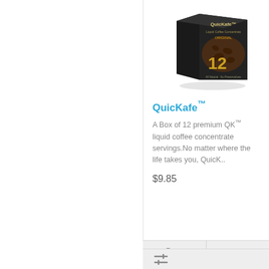[Figure (photo): Product box image of QuicKafe liquid coffee concentrate, dark box with coffee beans and number 12, gold text]
QuicKafe™
A Box of 12 premium QK™ liquid coffee concentrate servings.No matter where the life takes you, QuicK..
$9.85